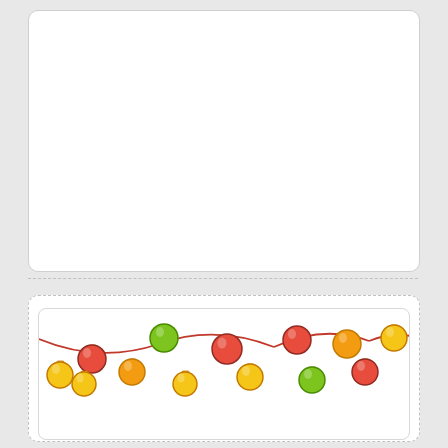[Figure (illustration): Top white card area (mostly blank/white greeting card placeholder)]
Subh Dhanteras Greetings With Your Name
[Figure (illustration): Decorative string of colorful Diwali/festival lantern lights in red, yellow, green colors arranged in a festive garland pattern at the top of the greeting card.]